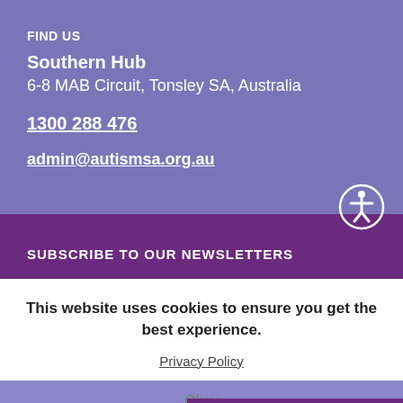FIND US
Southern Hub
6-8 MAB Circuit, Tonsley SA, Australia
1300 288 476
admin@autismsa.org.au
SUBSCRIBE TO OUR NEWSLETTERS
This website uses cookies to ensure you get the best experience.
Privacy Policy
Okay
Leave a message.